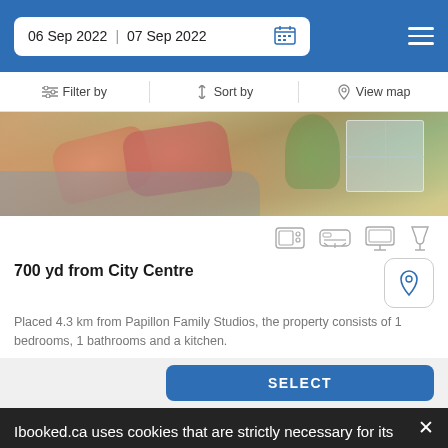06 Sep 2022  07 Sep 2022
Filter by   Sort by   View map
[Figure (photo): Interior photo of a room with pillows on a sofa/bed, a plant, and a window in the background]
700 yd from City Centre
Placed 4.3 km from Papillon Family Studios, the property consists of 1 bedrooms, 1 bathrooms and a kitchen.
SELECT
Ibooked.ca uses cookies that are strictly necessary for its functioning. We do not collect analytical and marketing cookies.